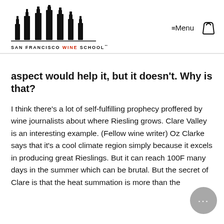[Figure (logo): San Francisco Wine School logo with wine bottle silhouettes above the text 'SAN FRANCISCO WINE SCHOOL']
≡Menu (navigation and bag icon)
aspect would help it, but it doesn't. Why is that?
I think there's a lot of self-fulfilling prophecy proffered by wine journalists about where Riesling grows. Clare Valley is an interesting example. (Fellow wine writer) Oz Clarke says that it's a cool climate region simply because it excels in producing great Rieslings. But it can reach 100F many days in the summer which can be brutal. But the secret of Clare is that the heat summation is more than the floor of Barossa Valley. The difference is that